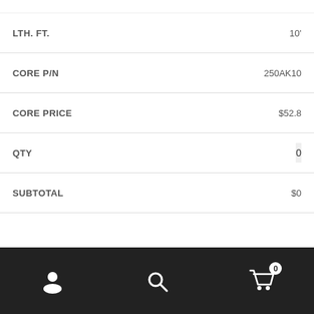| Field | Value |
| --- | --- |
| LTH. FT. | 10' |
| CORE P/N | 250AK10 |
| CORE PRICE | $52.8 |
| QTY | 0 |
| SUBTOTAL | $0 |
| Field | Value |
| --- | --- |
| LTH. FT. | 12' |
| CORE P/N | 250AK12 |
| CORE PRICE | $62.4 |
| QTY | 0 |
| SUBTOTAL | $0 |
LTH. FT.    14'